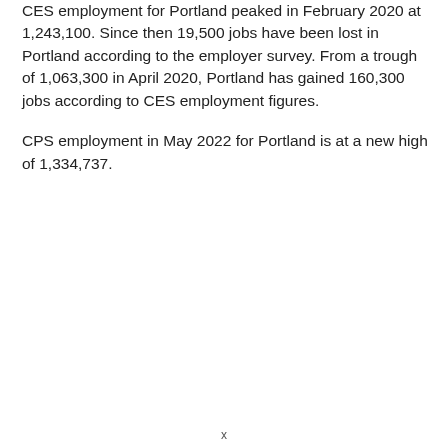CES employment for Portland peaked in February 2020 at 1,243,100. Since then 19,500 jobs have been lost in Portland according to the employer survey. From a trough of 1,063,300 in April 2020, Portland has gained 160,300 jobs according to CES employment figures.
CPS employment in May 2022 for Portland is at a new high of 1,334,737.
x